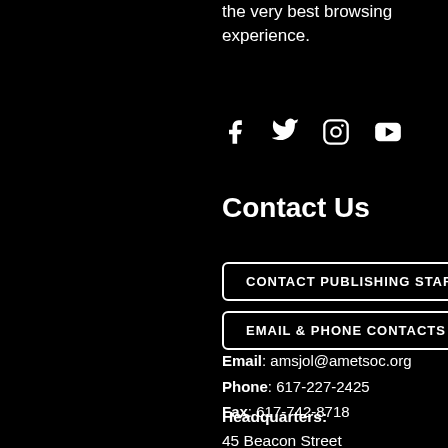the very best browsing experience.
[Figure (illustration): Social media icons: Facebook, Twitter, Instagram, YouTube]
Contact Us
CONTACT PUBLISHING STAFF
EMAIL & PHONE CONTACTS
Email: amsjol@ametsoc.org
Phone: 617-227-2425
Fax: 617-742-8718
Headquarters:
45 Beacon Street